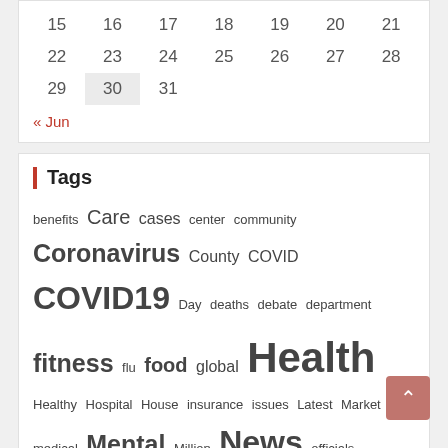| 15 | 16 | 17 | 18 | 19 | 20 | 21 |
| 22 | 23 | 24 | 25 | 26 | 27 | 28 |
| 29 | 30 | 31 |  |  |  |  |
« Jun
Tags
benefits Care cases center community Coronavirus County COVID COVID19 Day deaths debate department fitness flu food global Health Healthy Hospital House insurance issues Latest Market medical Mental Million News officials Pandemic plan positive public report reports Study treatment Trump Trumps vaccine Virus wellness White world